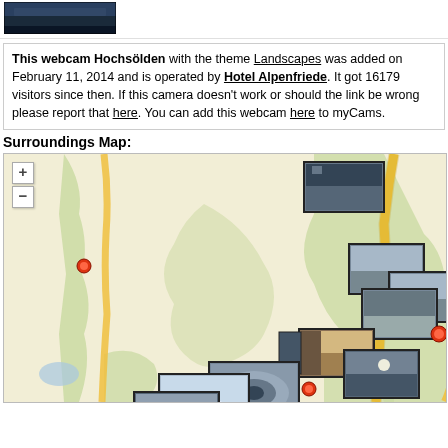[Figure (photo): Webcam thumbnail image showing a dark mountain/landscape scene]
This webcam Hochsölden with the theme Landscapes was added on February 11, 2014 and is operated by Hotel Alpenfriede. It got 16179 visitors since then. If this camera doesn't work or should the link be wrong please report that here. You can add this webcam here to myCams.
Surroundings Map:
[Figure (map): Interactive surroundings map showing the area around Hochsölden with webcam thumbnail overlays at various geographic locations, zoom controls (+/-), red location markers, and a road/terrain map with green forested areas and a yellow road running north-south.]